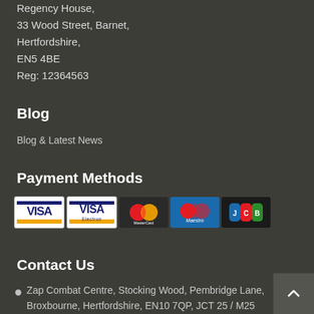Regency House,
33 Wood Street, Barnet,
Hertfordshire,
EN5 4BE
Reg: 12364563
Blog
Blog & Latest News
Payment Methods
[Figure (other): Payment method logos: Visa, Visa Electron, MasterCard, Maestro, JCB]
Contact Us
Zap Combat Centre, Stocking Wood, Pembridge Lane, Broxbourne, Hertfordshire, EN10 7QP, JCT 25 / M25